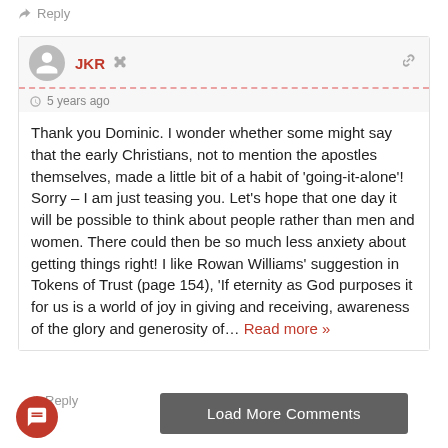↪ Reply
JKR
5 years ago
Thank you Dominic. I wonder whether some might say that the early Christians, not to mention the apostles themselves, made a little bit of a habit of 'going-it-alone'! Sorry – I am just teasing you. Let's hope that one day it will be possible to think about people rather than men and women. There could then be so much less anxiety about getting things right! I like Rowan Williams' suggestion in Tokens of Trust (page 154), 'If eternity as God purposes it for us is a world of joy in giving and receiving, awareness of the glory and generosity of… Read more »
↪ Reply
86
Load More Comments